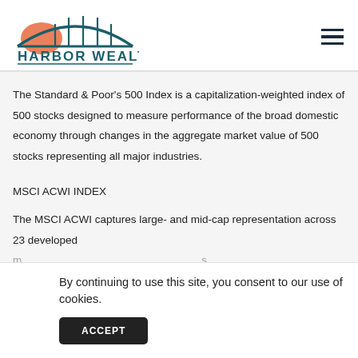[Figure (logo): Harbor Wealth logo with arch bridge and orange sun graphic above teal text HARBOR WEALTH]
The Standard & Poor's 500 Index is a capitalization-weighted index of 500 stocks designed to measure performance of the broad domestic economy through changes in the aggregate market value of 500 stocks representing all major industries.
MSCI ACWI INDEX
The MSCI ACWI captures large- and mid-cap representation across 23 developed m... s,
th...
se...
By continuing to use this site, you consent to our use of cookies.